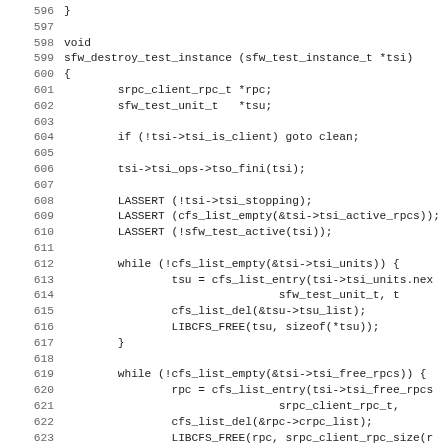Source code listing lines 596-627, C function sfw_destroy_test_instance